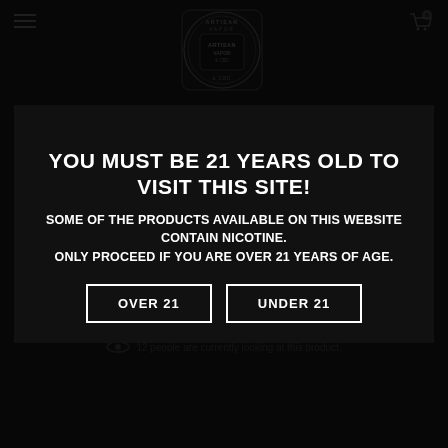[Figure (logo): Artisan Vapor & CBD logo — ornate badge with text 'ARTISAN VAPOR & CBD' centered]
Artisan Vapor & CBD – Purveyors of Fine Electronic Cigarettes and Supplies.
Founded in Texas in 2013, Artisan Vapor & CBD has grown to become one of the largest vape retailers in the world, with more than 30 stores in all 50 states. companies
YOU MUST BE 21 YEARS OLD TO VISIT THIS SITE!
SOME OF THE PRODUCTS AVAILABLE ON THIS WEBSITE CONTAIN NICOTINE. ONLY PROCEED IF YOU ARE OVER 21 YEARS OF AGE.
OVER 21
UNDER 21
$12.99    Purchase this product now and earn 13 Points!
ADD TO CART
12 people are currently looking at this product.